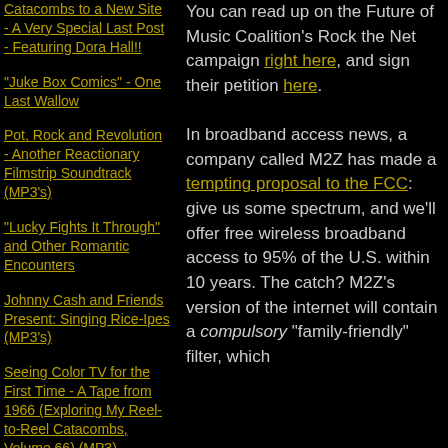Catacombs to a New Site - A Very Special Last Post - Featuring Dora Hall!!
"Juke Box Comics" - One Last Wallow
Pot, Rock and Revolution - Another Reactionary Filmstrip Soundtrack (MP3's)
"Lucky Fights It Through" and Other Romantic Encounters
Johnny Cash and Friends Present: Singing Rice-Ipes (MP3's)
Seeing Color TV for the First Time - A Tape from 1966 (Exploring My Reel-to-Reel Catacombs, Volume 66) (MP3)
Scotty Scott and his Vanity 45 (MP3's)
Silly Pilly vs. Mighty Bear
You can read up on the Future of Music Coalition's Rock the Net campaign right here, and sign their petition here. In broadband access news, a company called M2Z has made a tempting proposal to the FCC: give us some spectrum, and we'll offer free wireless broadband access to 95% of the U.S. within 10 years. The catch? M2Z's version of the internet will contain a compulsory "family-friendly" filter, which